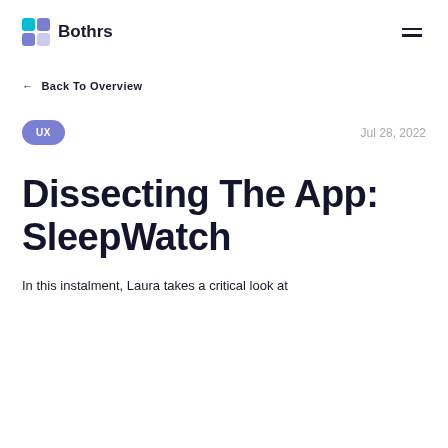Bothrs
← Back To Overview
UX
Jul 28, 2022
Dissecting The App: SleepWatch
In this instalment, Laura takes a critical look at